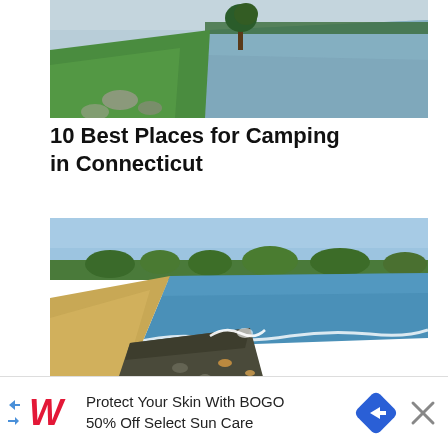[Figure (photo): Scenic lakeside view with green grass, a lone tree, and calm water in the background under an overcast sky]
10 Best Places for Camping in Connecticut
[Figure (photo): Sandy beach shoreline with waves lapping onto rocky sand, trees in the background under a blue sky]
[Figure (infographic): Advertisement banner: Walgreens logo with text 'Protect Your Skin With BOGO 50% Off Select Sun Care' and a navigation arrow icon, with a close button]